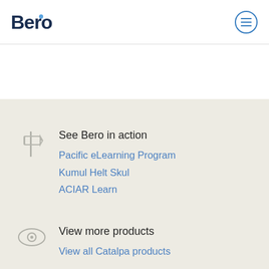Bero
See Bero in action
Pacific eLearning Program
Kumul Helt Skul
ACIAR Learn
View more products
View all Catalpa products